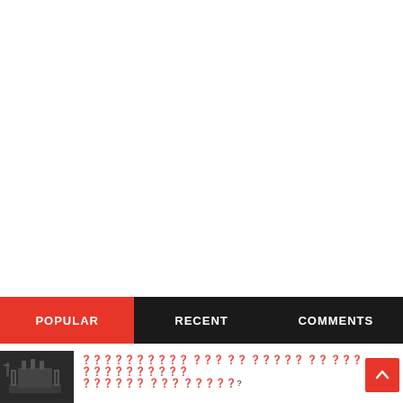POPULAR | RECENT | COMMENTS
[Figure (photo): Thumbnail image of a dark industrial transformer or electrical equipment]
?????????? ??? ?? ????? ?? ??? ?????????? ?????? ??? ?????